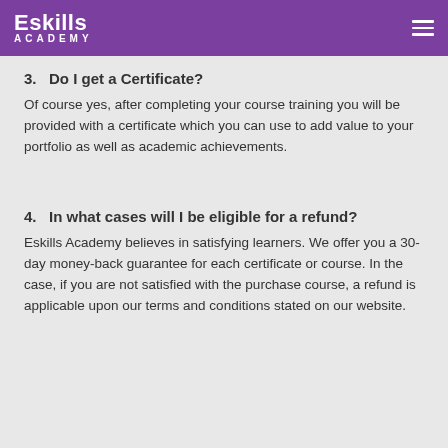Eskills Academy
3.   Do I get a Certificate?
Of course yes, after completing your course training you will be provided with a certificate which you can use to add value to your portfolio as well as academic achievements.
4.   In what cases will I be eligible for a refund?
Eskills Academy believes in satisfying learners. We offer you a 30-day money-back guarantee for each certificate or course. In the case, if you are not satisfied with the purchase course, a refund is applicable upon our terms and conditions stated on our website.